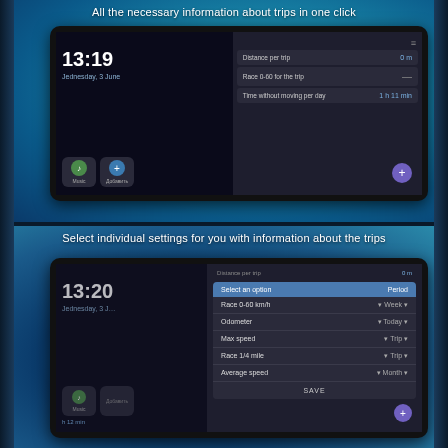All the necessary information about trips in one click
[Figure (screenshot): Android smartphone screenshot showing a trip information dashboard with time 13:19, date Wednesday 3 June, Music and Add buttons, and a list panel showing Distance per trip (0 m), Race 0-60 for the trip, and Time without moving per day (1 h 11 min), with a purple FAB button.]
Select individual settings for you with information about the trips
[Figure (screenshot): Android smartphone screenshot showing a trip settings dialog with options: Select an option / Period headers, then Race 0-60 km/h / Week, Odometer / Today, Max speed / Trip, Race 1/4 mile / Trip, Average speed / Month, and a SAVE button. Background shows the same dashboard at 13:20.]